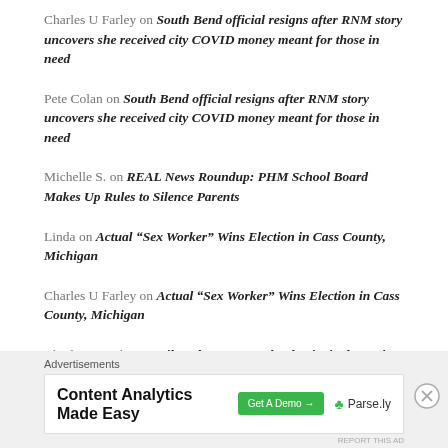Charles U Farley on South Bend official resigns after RNM story uncovers she received city COVID money meant for those in need
Pete Colan on South Bend official resigns after RNM story uncovers she received city COVID money meant for those in need
Michelle S. on REAL News Roundup: PHM School Board Makes Up Rules to Silence Parents
Linda on Actual “Sex Worker” Wins Election in Cass County, Michigan
Charles U Farley on Actual “Sex Worker” Wins Election in Cass County, Michigan
Charles U Farley on Niles Elementary School Principal’s Anti-USA Posts
Advertisements
[Figure (other): Advertisement banner: Content Analytics Made Easy – Get A Demo button – Parse.ly logo]